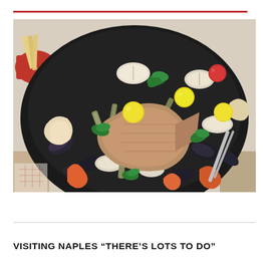[Figure (photo): A large black wok or pan filled with a mixed seafood dish including mussels, clams, razor clams, shrimp, crab, fish, cherry tomatoes (yellow and red), and fresh herbs (parsley). The dish appears to be a classic Italian seafood stew or zuppa di pesce. In the background, there is a red bowl and a decorative tablecloth.]
VISITING NAPLES “THERE’S LOTS TO DO”